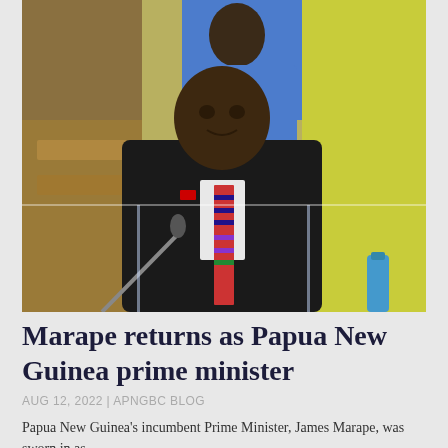[Figure (photo): A man in a dark suit speaking at a podium or lectern in what appears to be a parliament chamber. He is of Pacific Islander descent and wearing a colorful traditional tie. In the background is a person in a blue suit with a red tie, and bright yellow-green walls or panels typical of a parliament building.]
Marape returns as Papua New Guinea prime minister
AUG 12, 2022 | APNGBC BLOG
Papua New Guinea's incumbent Prime Minister, James Marape, was sworn in as